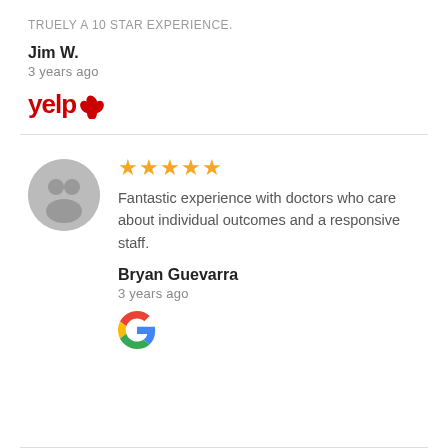TRUELY A 10 STAR EXPERIENCE.
Jim W.
3 years ago
[Figure (logo): Yelp logo with red burst icon]
Fantastic experience with doctors who care about individual outcomes and a responsive staff.
Bryan Guevarra
3 years ago
[Figure (logo): Google G logo]